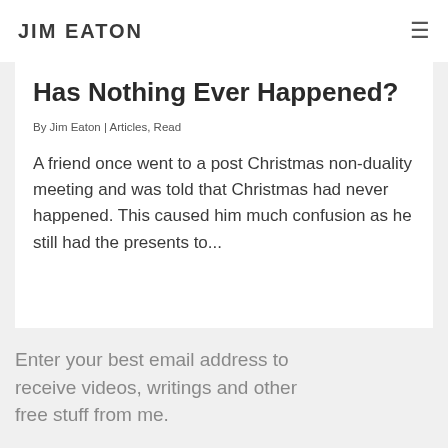JIM EATON
Has Nothing Ever Happened?
By Jim Eaton | Articles, Read
A friend once went to a post Christmas non-duality meeting and was told that Christmas had never happened. This caused him much confusion as he still had the presents to...
Enter your best email address to receive videos, writings and other free stuff from me.